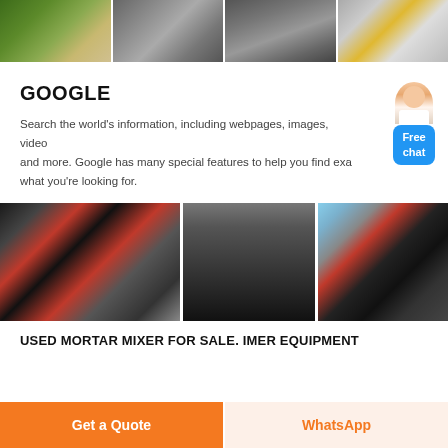[Figure (photo): Three industrial/factory photos in a row at the top: green machinery with wood chips, factory interior with equipment, large industrial cylinders/rollers]
GOOGLE
Search the world's information, including webpages, images, videos and more. Google has many special features to help you find exactly what you're looking for.
[Figure (photo): Three mining/crushing equipment photos: red-accented jaw crusher, cone crusher in factory, mobile crushing plant with excavator]
USED MORTAR MIXER FOR SALE. IMER EQUIPMENT
Get a Quote
WhatsApp